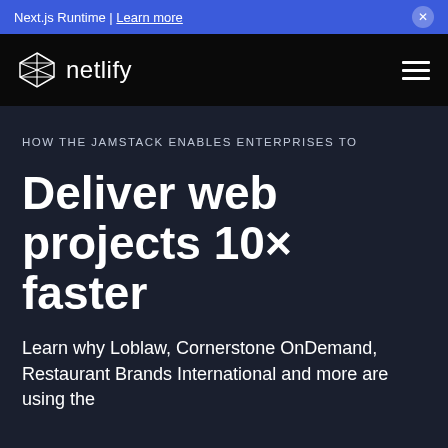Next.js Runtime | Learn more
[Figure (logo): Netlify logo with diamond/mesh icon and wordmark 'netlify' in white on black navigation bar]
HOW THE JAMSTACK ENABLES ENTERPRISES TO
Deliver web projects 10× faster
Learn why Loblaw, Cornerstone OnDemand, Restaurant Brands International and more are using the